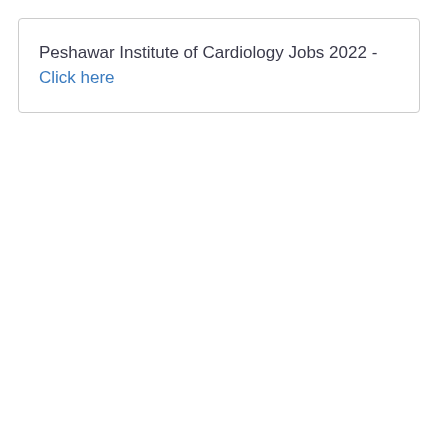Peshawar Institute of Cardiology Jobs 2022 - Click here